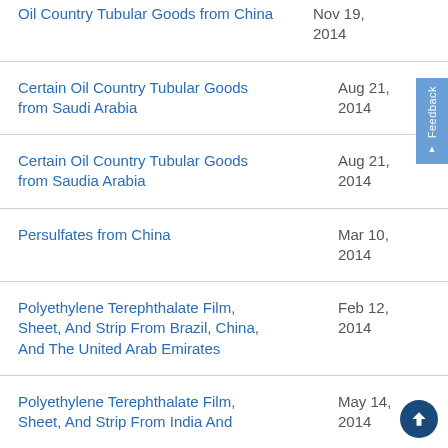Oil Country Tubular Goods from China
Certain Oil Country Tubular Goods from Saudi Arabia
Certain Oil Country Tubular Goods from Saudia Arabia
Persulfates from China
Polyethylene Terephthalate Film, Sheet, And Strip From Brazil, China, And The United Arab Emirates
Polyethylene Terephthalate Film, Sheet, And Strip From India And